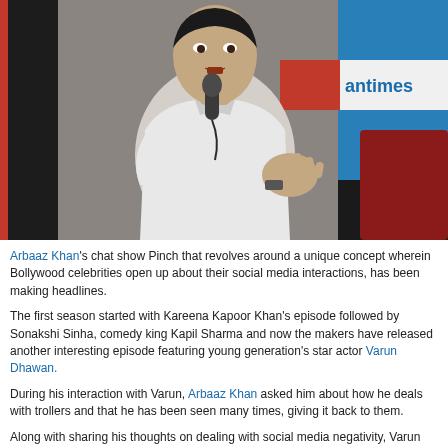[Figure (photo): Young male Bollywood actor speaking into a microphone at what appears to be a press event or chat show. He is wearing a white shirt and gesturing with his right hand. A Hindustan Times banner is visible in the background, along with red and blue elements. The background on the left is very dark/black.]
Arbaaz Khan's chat show Pinch that revolves around a unique concept wherein Bollywood celebrities open up about their social media interactions, has been making headlines.
The first season started with Kareena Kapoor Khan's episode followed by Sonakshi Sinha, comedy king Kapil Sharma and now the makers have released another interesting episode featuring young generation's star actor Varun Dhawan.
During his interaction with Varun, Arbaaz Khan asked him about how he deals with trollers and that he has been seen many times, giving it back to them.
Along with sharing his thoughts on dealing with social media negativity, Varun also spoke about his infamous controversy revolving around comparing Hollywood film Inception and Leonardo Di Caprio with his film Dilwale.